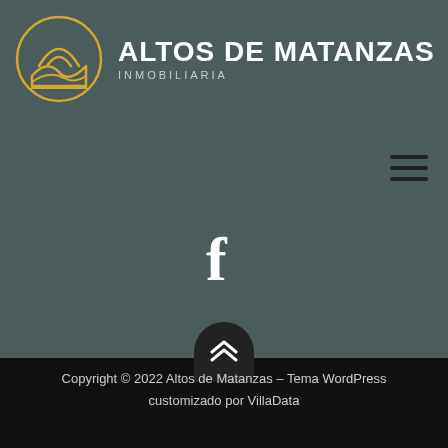[Figure (logo): Altos de Matanzas Inmobiliaria logo: circular golden line icon with sun and hills, beside bold white text ALTOS DE MATANZAS with subtitle INMOBILIARIA in grey]
[Figure (other): Hamburger menu icon (three horizontal dark lines) in upper right area]
[Figure (other): Facebook icon (white letter f) centered in the middle of the page]
[Figure (other): Scroll-to-top button: dark rounded shape with double chevron up arrow, at bottom of main area]
Copyright © 2022 Altos de Matanzas – Tema WordPress customizado por VillaData